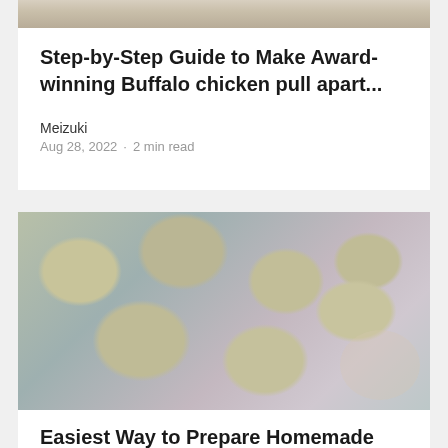[Figure (photo): Partial top portion of a food photo (cropped, only bottom strip visible)]
Step-by-Step Guide to Make Award-winning Buffalo chicken pull apart...
Meizuki
Aug 28, 2022 · 2 min read
[Figure (photo): Photo of homemade shami kabab patties arranged on a decorative plate with floral background]
Easiest Way to Prepare Homemade Frozen shami kabab